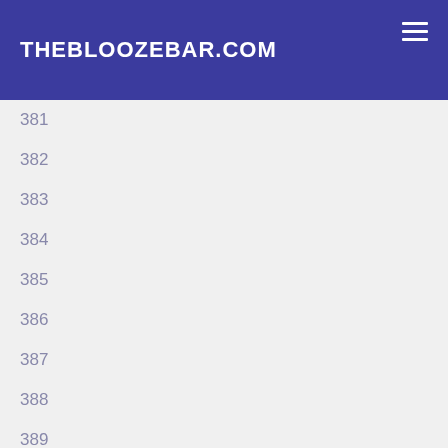THEBLOOZEBAR.COM
381
382
383
384
385
386
387
388
389
390
391
392
393
394
395